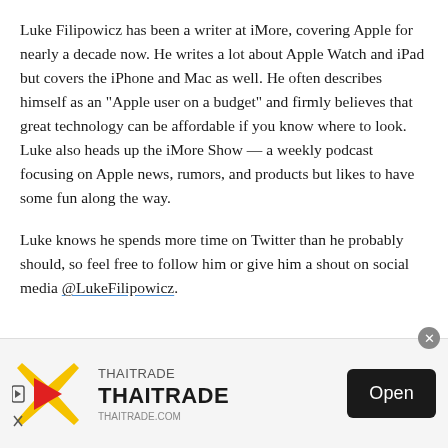Luke Filipowicz has been a writer at iMore, covering Apple for nearly a decade now. He writes a lot about Apple Watch and iPad but covers the iPhone and Mac as well. He often describes himself as an "Apple user on a budget" and firmly believes that great technology can be affordable if you know where to look. Luke also heads up the iMore Show — a weekly podcast focusing on Apple news, rumors, and products but likes to have some fun along the way.
Luke knows he spends more time on Twitter than he probably should, so feel free to follow him or give him a shout on social media @LukeFilipowicz.
[Figure (infographic): THAITRADE advertisement banner with logo (yellow/red X shape with play button), brand name THAITRADE, website thaitrade.com, and an Open button]